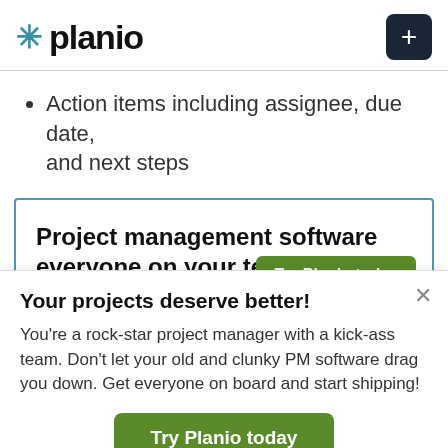[Figure (logo): Planio logo with teal asterisk and bold black text, plus a dark navy plus button on the right]
Action items including assignee, due date, and next steps
[Figure (screenshot): Ad box with blue border containing text: Project management software everyone on your team will love., with a partial green button visible]
Your projects deserve better!
You're a rock-star project manager with a kick-ass team. Don't let your old and clunky PM software drag you down. Get everyone on board and start shipping!
Try Planio today